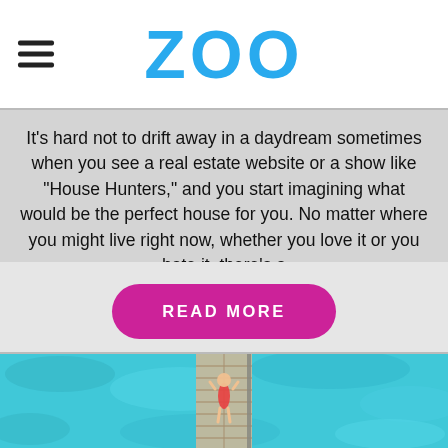ZOO
It's hard not to drift away in a daydream sometimes when you see a real estate website or a show like "House Hunters," and you start imagining what would be the perfect house for you. No matter where you might live right now, whether you love it or you hate it, there's a
READ MORE
[Figure (photo): Aerial view of a woman in a red swimsuit lying on a wooden dock/pier surrounded by turquoise ocean water]